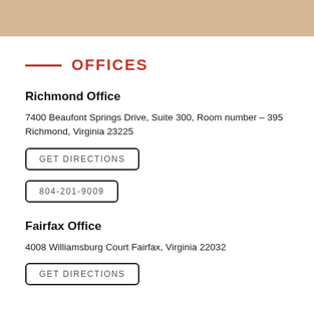OFFICES
Richmond Office
7400 Beaufont Springs Drive, Suite 300, Room number – 395
Richmond, Virginia 23225
GET DIRECTIONS
804-201-9009
Fairfax Office
4008 Williamsburg Court Fairfax, Virginia 22032
GET DIRECTIONS